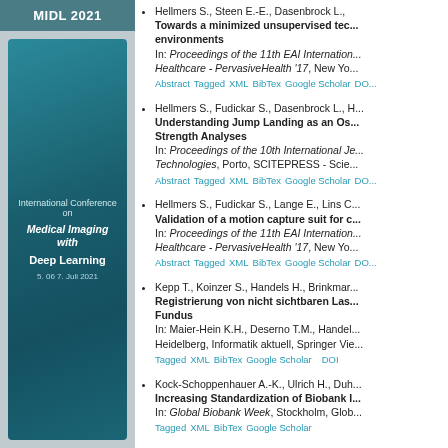[Figure (screenshot): MIDL 2021 conference sidebar with logo showing International Conference on Medical Imaging with Deep Learning, 5-6-7 Juli 2021]
Hellmers S., Steen E.-E., Dasenbrock L., ... Towards a minimized unsupervised tech... environments. In: Proceedings of the 11th EAI International... Healthcare - PervasiveHealth '17, New Yo... Abstract Tagged XML BibTex Google Scholar DOI
Hellmers S., Fudickar S., Dasenbrock L., H... Understanding Jump Landing as an Os... Strength Analyses. In: Proceedings of the 10th International Je... Technologies, Porto, SCITEPRESS - Scie... Abstract Tagged XML BibTex Google Scholar DOI
Hellmers S., Fudickar S., Lange E., Lins C... Validation of a motion capture suit for c... In: Proceedings of the 11th EAI International... Healthcare - PervasiveHealth '17, New Yo... Abstract Tagged XML BibTex Google Scholar DOI
Kepp T., Koinzer S., Handels H., Brinkmar... Registrierung von nicht sichtbaren Las... Fundus. In: Maier-Hein K.H., Deserno T.M., Handel... Heidelberg, Informatik aktuell, Springer Vie... Tagged XML BibTex Google Scholar DOI
Kock-Schoppenhauer A.-K., Ulrich H., Duh... Increasing Standardization of Biobank I... In: Global Biobank Week, Stockholm, Glob... Tagged XML BibTex Google Scholar
Kock-Schoppenhauer A.-K., Kamann C., ...